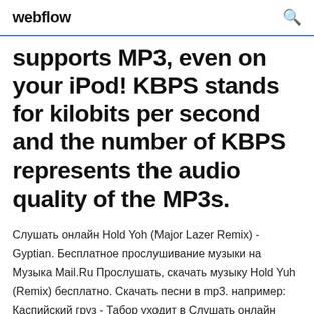webflow
supports MP3, even on your iPod! KBPS stands for kilobits per second and the number of KBPS represents the audio quality of the MP3s.
Слушать онлайн Hold Yoh (Major Lazer Remix) - Gyptian. Бесплатное прослушивание музыки на Музыка Mail.Ru Прослушать, скачать музыку Hold Yuh (Remix) бесплатно. Скачать песни в mp3. например: Каспийский груз - Табор уходит в Слушать онлайн Gyptian - Hold Yuh ... "Hold You" or "Hold Yuh" is a song by Jamaican singer and songwriter Gyptian from the album Hold You. It was released on July 24, 2010 in the